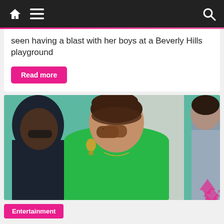Navigation bar with home, menu, and search icons
seen having a blast with her boys at a Beverly Hills playground
Read more
[Figure (photo): Woman in green blazer wearing large brown sunglasses and hoop earrings, with brunette updo hair, flanked by a dark-skinned man in navy on the left and a woman in gray on the right, against a teal and light background]
Entertainment